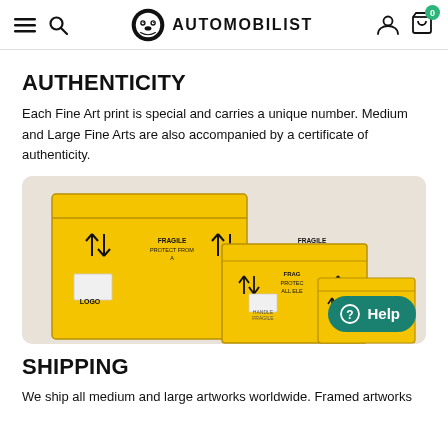AUTOMOBILIST
AUTHENTICITY
Each Fine Art print is special and carries a unique number. Medium and Large Fine Arts are also accompanied by a certificate of authenticity.
[Figure (photo): Three yellow shipping/transport crates of different sizes with 'FRAGILE – PROTECT FROM' labels and handling symbols, stacked/arranged together on a light background.]
SHIPPING
We ship all medium and large artworks worldwide. Framed artworks